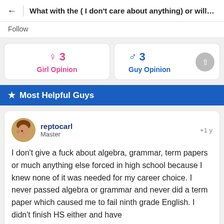What with the ( I don't care about anything) or willing to ...
Follow
♀ 3
Girl Opinion
♂ 3
Guy Opinion
★ Most Helpful Guys
reptocarl
Master
+1 y
I don't give a fuck about algebra, grammar, term papers or much anything else forced in high school because I knew none of it was needed for my career choice. I never passed algebra or grammar and never did a term paper which caused me to fail ninth grade English. I didn't finish HS either and have